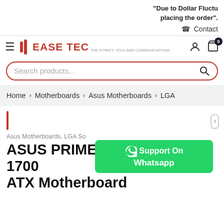"Due to Dollar Fluctu... placing the order".
Contact
EASE TEC — navigation bar with hamburger, logo, user icon, cart (0)
Search products...
Home > Motherboards > Asus Motherboards > LGA
Asus Motherboards, LGA So...
ASUS PRIME Z690-P D4 LGA 1700 ATX Motherboard
Support On Whatsapp